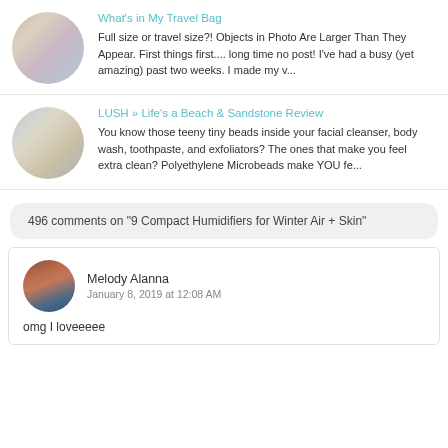[Figure (photo): Circular thumbnail of travel-sized beauty/toiletry products arranged on a white surface]
What's in My Travel Bag
Full size or travel size?! Objects in Photo Are Larger Than They Appear. First things first.... long time no post! I've had a busy (yet amazing) past two weeks. I made my v...
[Figure (photo): Circular thumbnail of LUSH cosmetic products including what appears to be a cream/scrub product]
LUSH » Life's a Beach & Sandstone Review
You know those teeny tiny beads inside your facial cleanser, body wash, toothpaste, and exfoliators? The ones that make you feel extra clean? Polyethylene Microbeads make YOU fe...
496 comments on "9 Compact Humidifiers for Winter Air + Skin"
[Figure (photo): Circular avatar photo of a woman with dark curly hair]
Melody Alanna
January 8, 2019 at 12:08 AM
omg I loveeeee